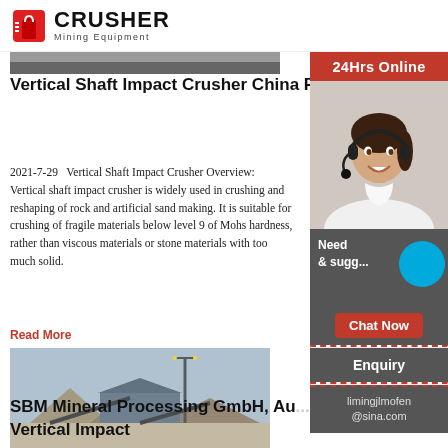CRUSHER Mining Equipment
[Figure (photo): Partial image strip at top of article]
Vertical Shaft Impact Crusher China First Engineering ...
2021-7-29   Vertical Shaft Impact Crusher Overview: Vertical shaft impact crusher is widely used in crushing and reshaping of rock and artificial sand making. It is suitable for crushing of fragile materials below level 9 of Mohs, rather than viscous materials or stone materials with much solid.
Read More
[Figure (photo): Mining/crushing plant facility with conveyors and piles of material]
SBM Mineral Processing GmbH, Au... Vertical Impact
[Figure (infographic): 24Hrs Online sidebar with customer service representative photo, chat now button, enquiry section, and email limingjlmofen@sina.com]